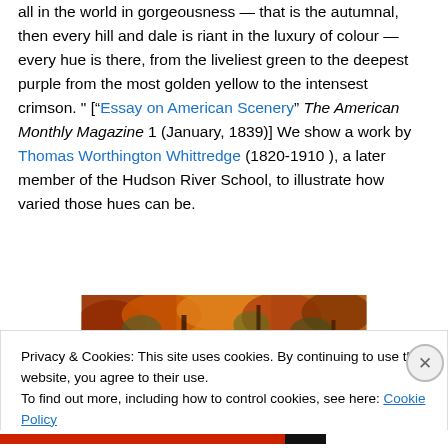all in the world in gorgeousness — that is the autumnal, then every hill and dale is riant in the luxury of colour — every hue is there, from the liveliest green to the deepest purple from the most golden yellow to the intensest crimson. " ["Essay on American Scenery" The American Monthly Magazine 1 (January, 1839)] We show a work by Thomas Worthington Whittredge (1820-1910 ), a later member of the Hudson River School, to illustrate how varied those hues can be.
[Figure (photo): A panoramic autumn landscape painting showing colorful fall foliage in warm oranges, reds, and yellows — work by Thomas Worthington Whittredge.]
Privacy & Cookies: This site uses cookies. By continuing to use this website, you agree to their use.
To find out more, including how to control cookies, see here: Cookie Policy